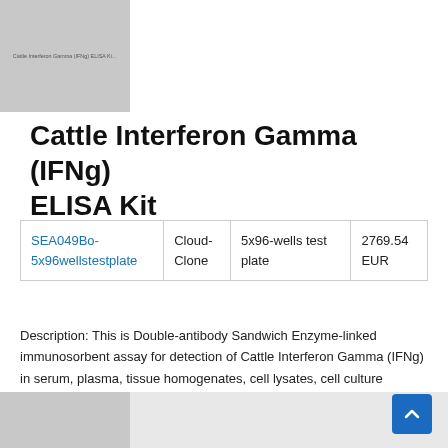[Figure (photo): Product image thumbnail of Cattle Interferon Gamma (IFNg) ELISA Kit with text overlay]
Cattle Interferon Gamma (IFNg) ELISA Kit
| Product ID | Manufacturer | Size | Price |
| --- | --- | --- | --- |
| SEA049Bo-5x96wellstestplate | Cloud-Clone | 5x96-wells test plate | 2769.54 EUR |
Description: This is Double-antibody Sandwich Enzyme-linked immunosorbent assay for detection of Cattle Interferon Gamma (IFNg) in serum, plasma, tissue homogenates, cell lysates, cell culture supernates and other biological fluids.